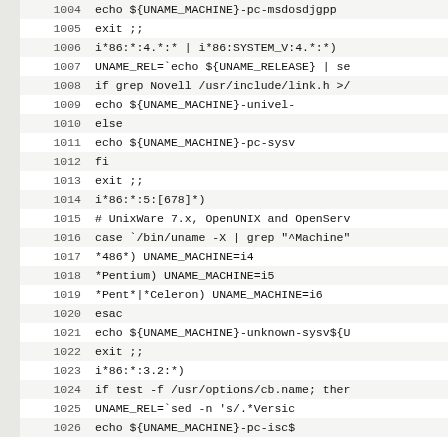Code listing lines 1004-1026 showing shell script for machine detection (UNAME_MACHINE, UNAME_RELEASE pattern matching for i*86 systems)